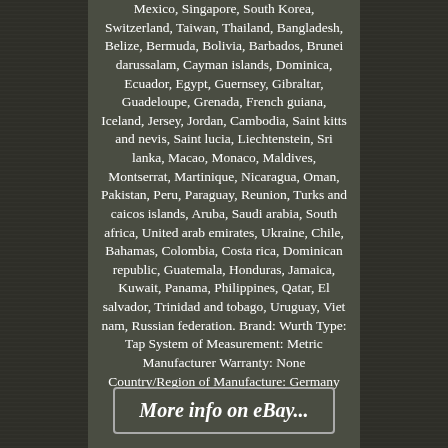Mexico, Singapore, South Korea, Switzerland, Taiwan, Thailand, Bangladesh, Belize, Bermuda, Bolivia, Barbados, Brunei darussalam, Cayman islands, Dominica, Ecuador, Egypt, Guernsey, Gibraltar, Guadeloupe, Grenada, French guiana, Iceland, Jersey, Jordan, Cambodia, Saint kitts and nevis, Saint lucia, Liechtenstein, Sri lanka, Macao, Monaco, Maldives, Montserrat, Martinique, Nicaragua, Oman, Pakistan, Peru, Paraguay, Reunion, Turks and caicos islands, Aruba, Saudi arabia, South africa, United arab emirates, Ukraine, Chile, Bahamas, Colombia, Costa rica, Dominican republic, Guatemala, Honduras, Jamaica, Kuwait, Panama, Philippines, Qatar, El salvador, Trinidad and tobago, Uruguay, Viet nam, Russian federation. Brand: Wurth Type: Tap System of Measurement: Metric Manufacturer Warranty: None Country/Region of Manufacture: Germany
More info on eBay...